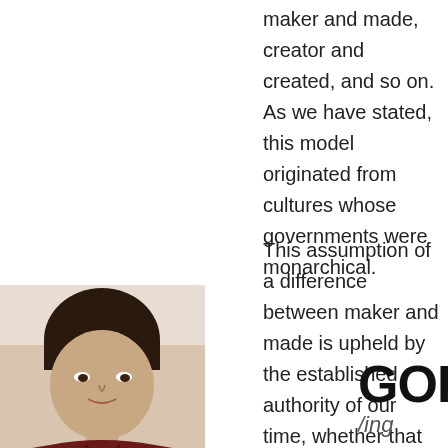maker and made, creator and created, and so on. As we have stated, this model originated from cultures whose governments were monarchical.
This assumption of a difference between maker and made is upheld by the established authority of our time, whether that be religion, nation, government, corporate, banking or commerce. To define and promote the apparent difference between creator and created benefits such institutions because people erroneously believe the status quo, which tells them they are only an effect rather than a cause. This perception results from the concept that we are made in the same way that a carpenter builds a house with his hands, meaning anything that is created by work performed from the outside inward, as a sculptor carves wood. Again, this is vastly
[Figure (photo): Photo of a young man with short hair wearing a dark red v-neck shirt, with arms crossed resting on a surface, looking at the camera]
GORY
ing